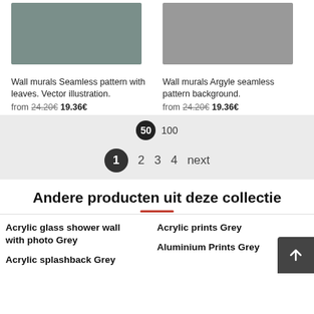[Figure (photo): Greyscale wall mural with leaf pattern]
Wall murals Seamless pattern with leaves. Vector illustration.
from 24.20€ 19.36€
[Figure (photo): Greyscale wall mural argyle diamond pattern]
Wall murals Argyle seamless pattern background.
from 24.20€ 19.36€
50  100
1  2  3  4  next
Andere producten uit deze collectie
Acrylic glass shower wall with photo Grey
Acrylic prints Grey
Acrylic splashback Grey
Aluminium Prints Grey